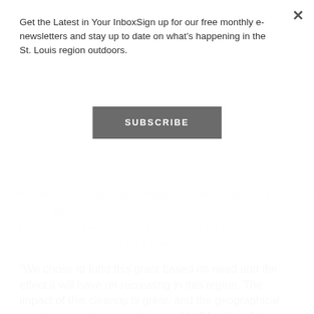Get the Latest in Your InboxSign up for our free monthly e-newsletters and stay up to date on what's happening in the St. Louis region outdoors.
SUBSCRIBE
Confluence State Park, Lewis and Clark State park, Duck Island, Cora Island Unit of the Big Muddy Wildlife Refuge and the U.S. Army Corps of Engineers Riverlands Migratory Bird Sanctuary.
“We chose to fund this grant based on need and the effect it will have on recreating in this region. The impact of this cleanup is great, and the geographical area is expansive, covering roughly 24 miles of river north and south